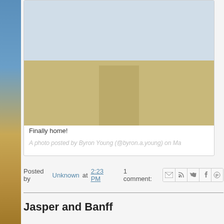[Figure (photo): Embedded Instagram photo post showing a road/desert landscape photo partially visible, with caption 'Finally home!' and attribution 'A photo posted by Byron Young (@byron.a.young) on Ma...']
Finally home!
A photo posted by Byron Young (@byron.a.young) on Ma
Posted by Unknown at 2:23 PM   1 comment:
Jasper and Banff